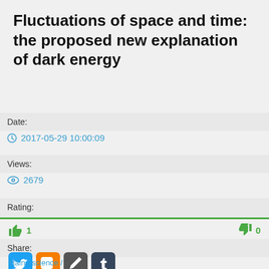Fluctuations of space and time: the proposed new explanation of dark energy
Date:
2017-05-29 10:00:09
Views:
2679
Rating:
1
0
Share:
Main / science /